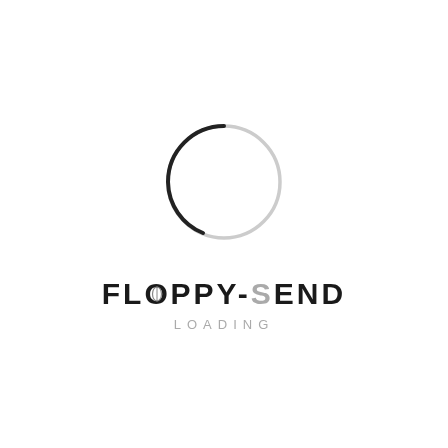[Figure (logo): A loading spinner circle with a dark arc on the left side and a light gray arc completing the circle, above the FLOPPY-SEND logo text and LOADING subtitle]
FLOPPY-SEND
LOADING